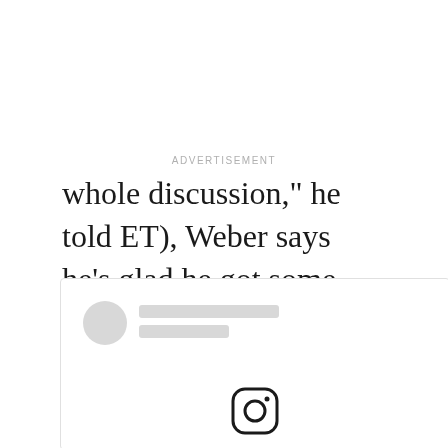ADVERTISEMENT
whole discussion," he told ET), Weber says he's glad he got some closure.
[Figure (screenshot): Partial view of an Instagram social media embed with a circular avatar placeholder, two gray placeholder bars for username and handle, and the Instagram camera icon at the bottom center of the embed card.]